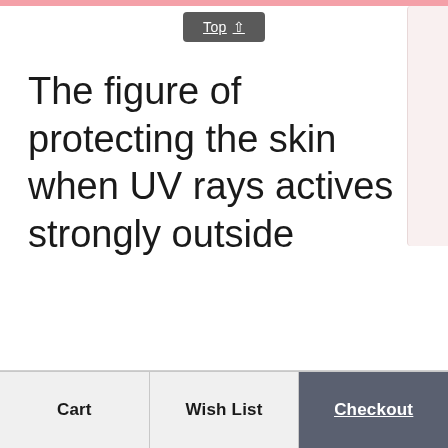Top ↑
The figure of protecting the skin when UV rays actives strongly outside
Cart | Wish List | Checkout